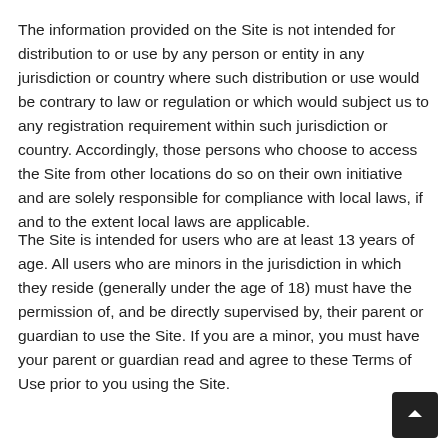The information provided on the Site is not intended for distribution to or use by any person or entity in any jurisdiction or country where such distribution or use would be contrary to law or regulation or which would subject us to any registration requirement within such jurisdiction or country. Accordingly, those persons who choose to access the Site from other locations do so on their own initiative and are solely responsible for compliance with local laws, if and to the extent local laws are applicable.
The Site is intended for users who are at least 13 years of age. All users who are minors in the jurisdiction in which they reside (generally under the age of 18) must have the permission of, and be directly supervised by, their parent or guardian to use the Site. If you are a minor, you must have your parent or guardian read and agree to these Terms of Use prior to you using the Site.